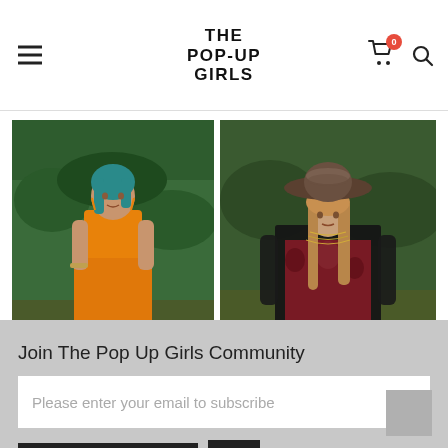THE POP-UP GIRLS
[Figure (photo): Woman in orange spaghetti-strap crop top and wide-leg orange trousers with blue-green hair, photographed outdoors in a garden]
[Figure (photo): Woman wearing a wide-brim brown hat and black sheer top with a red floral dress/jumper underneath, photographed outdoors]
Join The Pop Up Girls Community
Please enter your email to subscribe
Subscribe Now